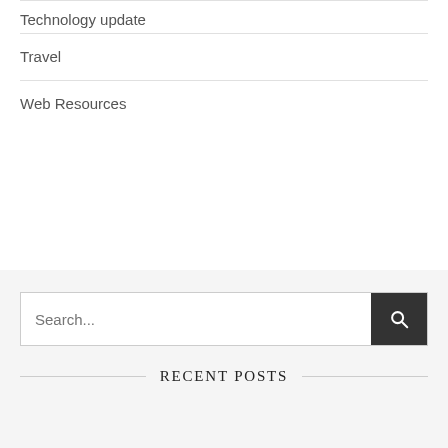Technology update
Travel
Web Resources
Search...
RECENT POSTS